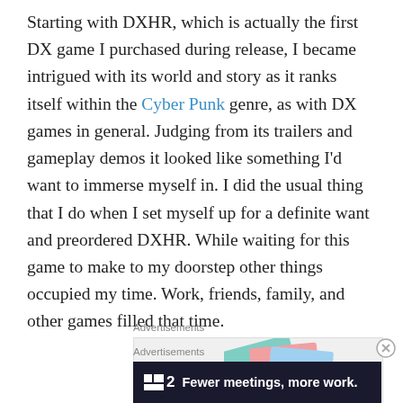Starting with DXHR, which is actually the first DX game I purchased during release, I became intrigued with its world and story as it ranks itself within the Cyber Punk genre, as with DX games in general. Judging from its trailers and gameplay demos it looked like something I'd want to immerse myself in. I did the usual thing that I do when I set myself up for a definite want and preordered DXHR. While waiting for this game to make to my doorstep other things occupied my time. Work, friends, family, and other games filled that time.
Advertisements
[Figure (other): WordPress VIP advertisement banner with colorful card graphics and a Learn more button]
Advertisements
[Figure (other): Dark advertisement banner reading: square icon followed by 2 Fewer meetings, more work.]